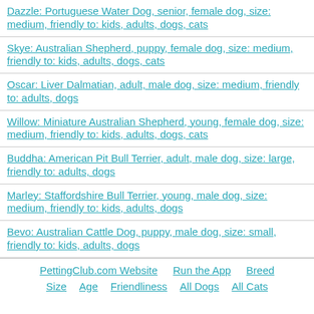Dazzle: Portuguese Water Dog, senior, female dog, size: medium, friendly to: kids, adults, dogs, cats
Skye: Australian Shepherd, puppy, female dog, size: medium, friendly to: kids, adults, dogs, cats
Oscar: Liver Dalmatian, adult, male dog, size: medium, friendly to: adults, dogs
Willow: Miniature Australian Shepherd, young, female dog, size: medium, friendly to: kids, adults, dogs, cats
Buddha: American Pit Bull Terrier, adult, male dog, size: large, friendly to: adults, dogs
Marley: Staffordshire Bull Terrier, young, male dog, size: medium, friendly to: kids, adults, dogs
Bevo: Australian Cattle Dog, puppy, male dog, size: small, friendly to: kids, adults, dogs
PettingClub.com Website   Run the App   Breed   Size   Age   Friendliness   All Dogs   All Cats